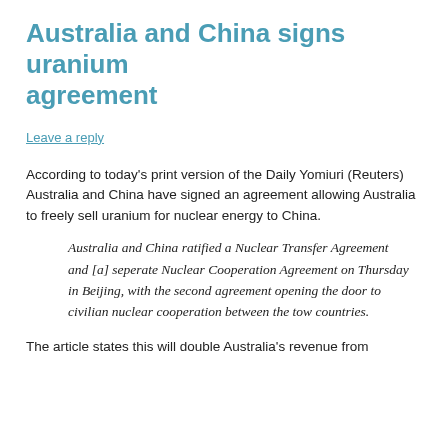Australia and China signs uranium agreement
Leave a reply
According to today's print version of the Daily Yomiuri (Reuters) Australia and China have signed an agreement allowing Australia to freely sell uranium for nuclear energy to China.
Australia and China ratified a Nuclear Transfer Agreement and [a] seperate Nuclear Cooperation Agreement on Thursday in Beijing, with the second agreement opening the door to civilian nuclear cooperation between the tow countries.
The article states this will double Australia's revenue from